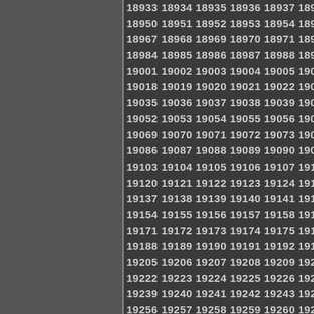[Figure (other): Gray left panel, likely a sidebar or navigation area]
18933 18934 18935 18936 18937 18938 18939 1...
19341 19342 19343 19344 19345 19346 19347...